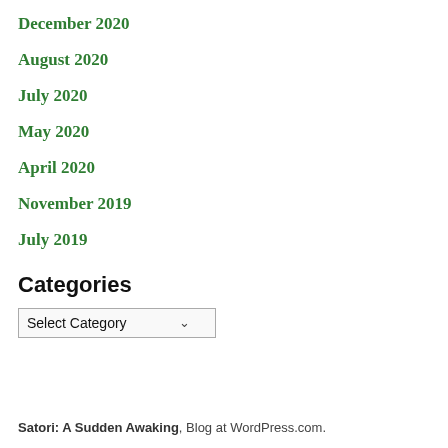December 2020
August 2020
July 2020
May 2020
April 2020
November 2019
July 2019
Categories
Select Category
Satori: A Sudden Awaking, Blog at WordPress.com.